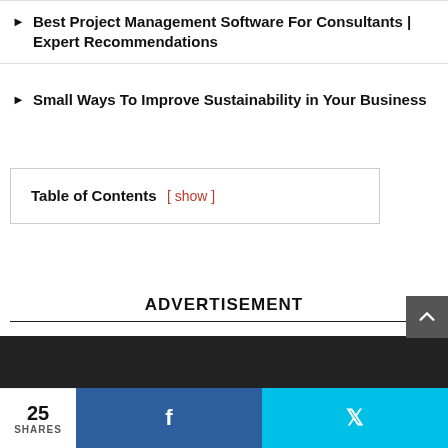Best Project Management Software For Consultants | Expert Recommendations
Small Ways To Improve Sustainability in Your Business
Table of Contents  [ show ]
ADVERTISEMENT
25 SHARES